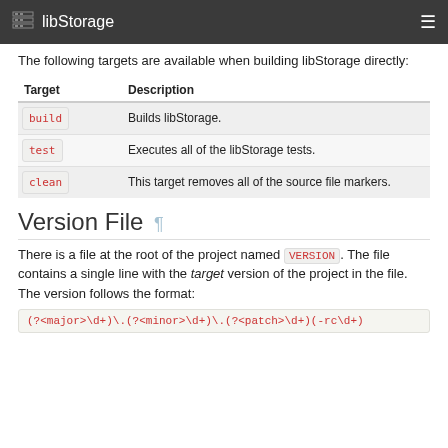libStorage
The following targets are available when building libStorage directly:
| Target | Description |
| --- | --- |
| build | Builds libStorage. |
| test | Executes all of the libStorage tests. |
| clean | This target removes all of the source file markers. |
Version File
There is a file at the root of the project named VERSION. The file contains a single line with the target version of the project in the file. The version follows the format: